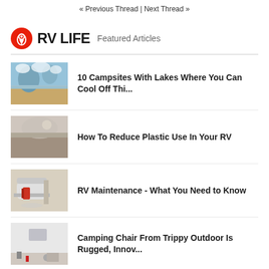« Previous Thread | Next Thread »
[Figure (logo): RV LIFE logo with red map pin icon and 'Featured Articles' subtitle]
10 Campsites With Lakes Where You Can Cool Off Thi...
How To Reduce Plastic Use In Your RV
RV Maintenance - What You Need to Know
Camping Chair From Trippy Outdoor Is Rugged, Innov...
10 Best Outer Banks Campgrounds For RVers